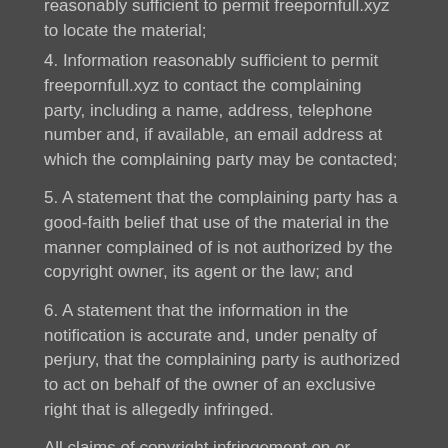reasonably sufficient to permit freepornfull.xyz to locate the material;
4. Information reasonably sufficient to permit freepornfull.xyz to contact the complaining party, including a name, address, telephone number and, if available, an email address at which the complaining party may be contacted;
5. A statement that the complaining party has a good-faith belief that use of the material in the manner complained of is not authorized by the copyright owner, its agent or the law; and
6. A statement that the information in the notification is accurate and, under penalty of perjury, that the complaining party is authorized to act on behalf of the owner of an exclusive right that is allegedly infringed.
All claims of copyright infringement on or regarding this Website should be addressed using this contact form.